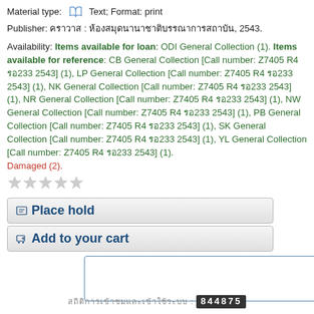Material type: [book icon] Text; Format: print
Publisher: [Thai text] : [Thai text], 2543.
Availability: Items available for loan: ODI General Collection (1). Items available for reference: CB General Collection [Call number: Z7405 R4 [Thai]233 2543] (1), LP General Collection [Call number: Z7405 R4 [Thai]233 2543] (1), NK General Collection [Call number: Z7405 R4 [Thai]233 2543] (1), NR General Collection [Call number: Z7405 R4 [Thai]233 2543] (1), NW General Collection [Call number: Z7405 R4 [Thai]233 2543] (1), PB General Collection [Call number: Z7405 R4 [Thai]233 2543] (1), SK General Collection [Call number: Z7405 R4 [Thai]233 2543] (1), YL General Collection [Call number: Z7405 R4 [Thai]233 2543] (1). Damaged (2).
[Figure (other): Five grey star rating icons]
Place hold
Add to your cart
[Thai text] : 844875